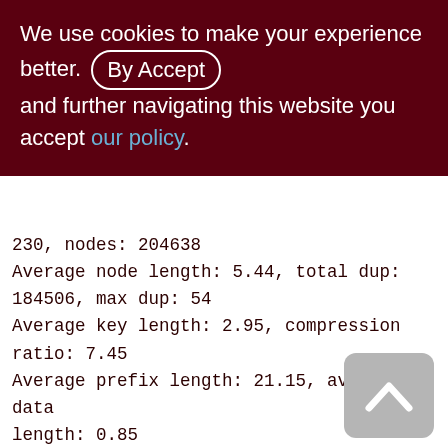We use cookies to make your experience better. By Accept and further navigating this website you accept our policy.
230, nodes: 204638
Average node length: 5.44, total dup: 184506, max dup: 54
Average key length: 2.95, compression ratio: 7.45
Average prefix length: 21.15, average data length: 0.85
Clustering factor: 49766, ratio: 0.24
Fill distribution:
0 - 19% = 1
20 - 39% = 20
40 - 59% = 108
60 - 79% = 68
[Figure (other): Back to top button - upward chevron arrow on grey rounded rectangle background]